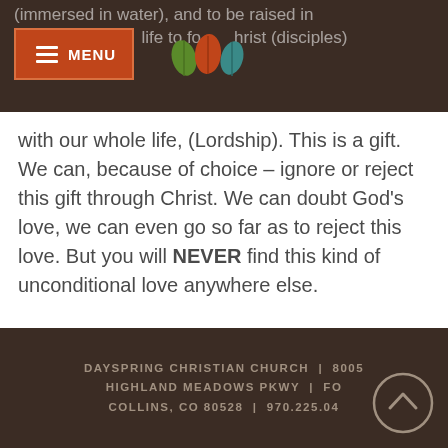(immersed in water), and to be raised in life to follow Christ (disciples)
[Figure (logo): Three decorative leaf icons (green, orange, teal) forming a cluster logo for Dayspring Christian Church]
with our whole life, (Lordship). This is a gift. We can, because of choice – ignore or reject this gift through Christ. We can doubt God's love, we can even go so far as to reject this love. But you will NEVER find this kind of unconditional love anywhere else.
DAYSPRING CHRISTIAN CHURCH | 8005 HIGHLAND MEADOWS PKWY | FORT COLLINS, CO 80528 | 970.225.0460